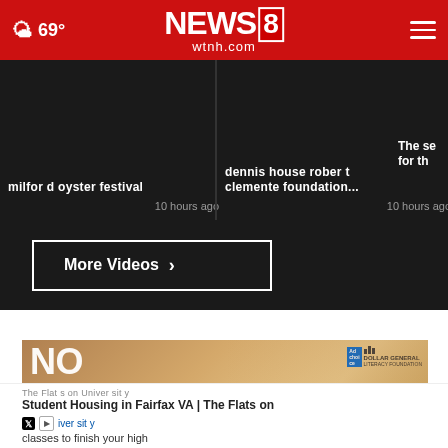NEWS 8 wtnh.com — 69°
milford oyster festival — 10 hours ago
dennis house robert clemente foundation... — 10 hours ago
The se... for th...
More Videos ›
[Figure (photo): Advertisement showing a person in graduation cap with text 'NO ONE GETS A DIPLOMA ALONE.' Dollar General Literacy Foundation ad]
The Flats on University
Student Housing in Fairfax VA | The Flats on University
classes to finish your high
Ad — iversity